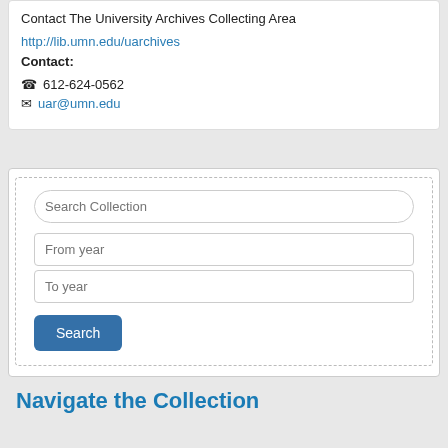Contact The University Archives Collecting Area
http://lib.umn.edu/uarchives
Contact:
612-624-0562
uar@umn.edu
[Figure (screenshot): Search form with fields: Search Collection, From year, To year, and a Search button]
Navigate the Collection